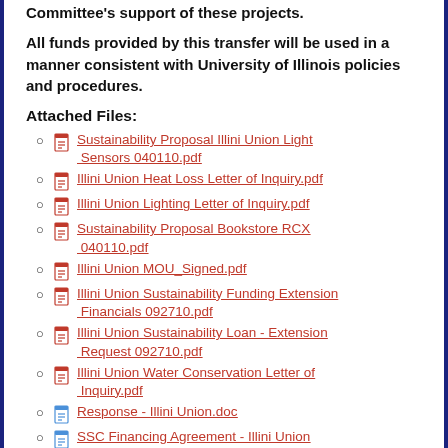Committee's support of these projects.
All funds provided by this transfer will be used in a manner consistent with University of Illinois policies and procedures.
Attached Files:
Sustainability Proposal Illini Union Light Sensors 040110.pdf
Illini Union Heat Loss Letter of Inquiry.pdf
Illini Union Lighting Letter of Inquiry.pdf
Sustainability Proposal Bookstore RCX 040110.pdf
Illini Union MOU_Signed.pdf
Illini Union Sustainability Funding Extension Financials 092710.pdf
Illini Union Sustainability Loan - Extension Request 092710.pdf
Illini Union Water Conservation Letter of Inquiry.pdf
Response - Illini Union.doc
SSC Financing Agreement - Illini Union Occupancy Sensors and Retrocommissioning.doc